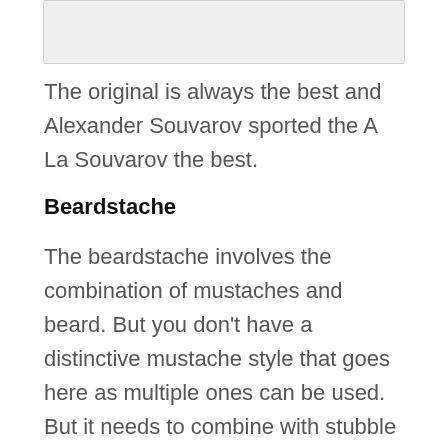[Figure (photo): Image placeholder at top of page]
The original is always the best and Alexander Souvarov sported the A La Souvarov the best.
Beardstache
The beardstache involves the combination of mustaches and beard. But you don't have a distinctive mustache style that goes here as multiple ones can be used. But it needs to combine with stubble to make it work. You can style the mustache as you wish, but make sure to keep the beard short and to a subtle length